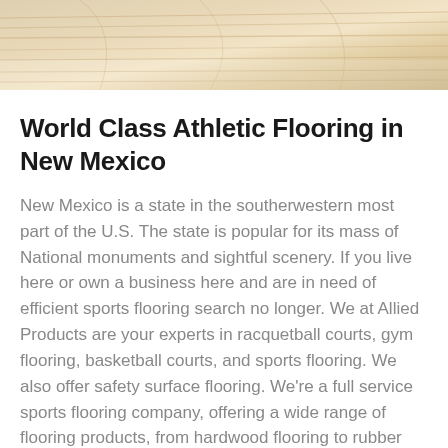[Figure (photo): Close-up photo of light-colored wood flooring with visible grain patterns, serving as a decorative banner at the top of the page.]
World Class Athletic Flooring in New Mexico
New Mexico is a state in the southerwestern most part of the U.S. The state is popular for its mass of National monuments and sightful scenery. If you live here or own a business here and are in need of efficient sports flooring search no longer. We at Allied Products are your experts in racquetball courts, gym flooring, basketball courts, and sports flooring. We also offer safety surface flooring. We’re a full service sports flooring company, offering a wide range of flooring products, from hardwood flooring to rubber tile. We provide exceptional service and we stand behind our products and manufacturer’s warranties. Try Allied